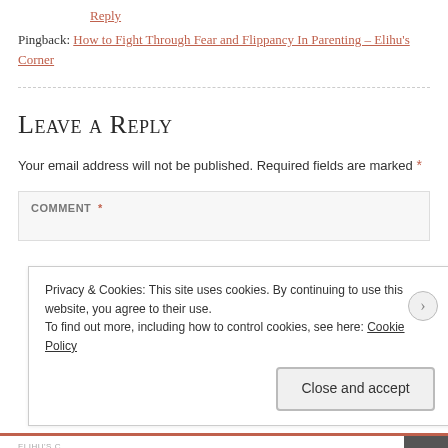Reply
Pingback: How to Fight Through Fear and Flippancy In Parenting – Elihu’s Corner
Leave a Reply
Your email address will not be published. Required fields are marked *
COMMENT *
Privacy & Cookies: This site uses cookies. By continuing to use this website, you agree to their use.
To find out more, including how to control cookies, see here: Cookie Policy
Close and accept